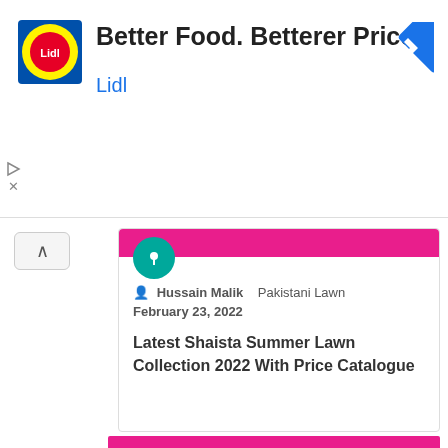[Figure (logo): Lidl advertisement banner with logo, headline 'Better Food. Betterer Prices.' and brand name 'Lidl', with a blue navigation arrow icon on the right]
Hussain Malik   Pakistani Lawn
February 23, 2022
Latest Shaista Summer Lawn Collection 2022 With Price Catalogue
[Figure (photo): Pink/magenta colored image block (partially visible)]